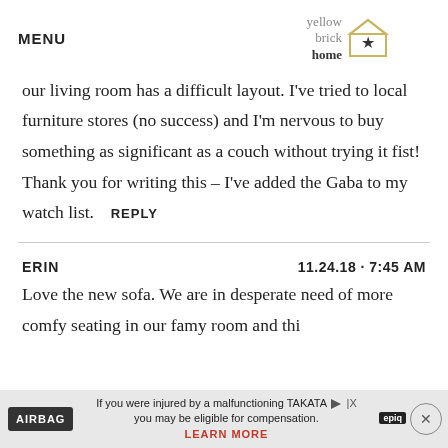MENU | yellow brick home logo
our living room has a difficult layout. I've tried to local furniture stores (no success) and I'm nervous to buy something as significant as a couch without trying it fist! Thank you for writing this – I've added the Gaba to my watch list.  REPLY
ERIN    11.24.18 · 7:45 AM
Love the new sofa. We are in desperate need of more comfy seating in our famy room and thi...
[Figure (other): Advertisement banner: AIRBAG logo with text 'If you were injured by a malfunctioning TAKATA you may be eligible for compensation. LEARN MORE' with epiq branding and close button]